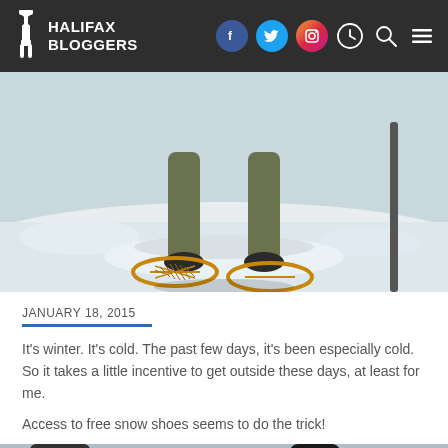HALIFAX BLOGGERS
[Figure (photo): Person standing in snow wearing snowshoes, photo cropped at waist level showing legs, snowshoes, and snowy ground]
JANUARY 18, 2015
It's winter. It's cold. The past few days, it's been especially cold. So it takes a little incentive to get outside these days, at least for me.
Access to free snow shoes seems to do the trick!
[Figure (photo): Bottom partial photo showing snow shoes and boots in snow, cropped view from above]